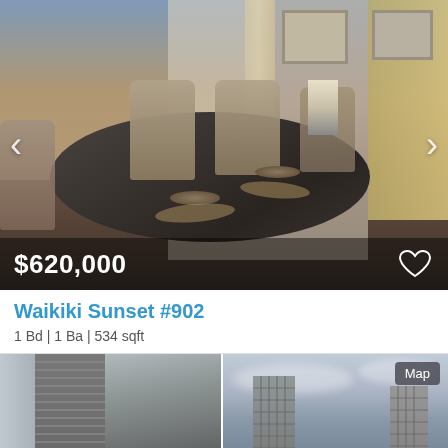[Figure (photo): Interior photo of a dining room with a dark stone oval table, upholstered chairs, and a city view through large windows at sunset. Price overlay showing $620,000 with a heart/save icon. Navigation arrows on left and right.]
Waikiki Sunset #902
1 Bd | 1 Ba | 534 sqft
[Figure (photo): Two photos side by side: left shows a close-up of a building's ventilation/AC unit, right shows a city skyline with tall towers against a cloudy sky. A 'Map' badge is visible in the top right.]
Call Agent
Message Agent